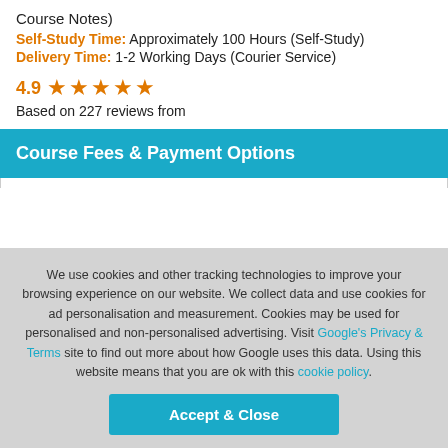Course Notes)
Self-Study Time: Approximately 100 Hours (Self-Study)
Delivery Time: 1-2 Working Days (Courier Service)
4.9 ★★★★★
Based on 227 reviews from
Course Fees & Payment Options
We use cookies and other tracking technologies to improve your browsing experience on our website. We collect data and use cookies for ad personalisation and measurement. Cookies may be used for personalised and non-personalised advertising. Visit Google's Privacy & Terms site to find out more about how Google uses this data. Using this website means that you are ok with this cookie policy.
Accept & Close